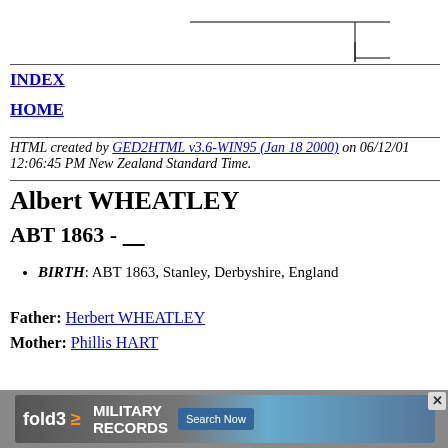[Figure (other): Partial genealogy tree diagram showing connecting lines at top of page]
INDEX
HOME
HTML created by GED2HTML v3.6-WIN95 (Jan 18 2000) on 06/12/01 12:06:45 PM New Zealand Standard Time.
Albert WHEATLEY
ABT 1863 - ___
BIRTH: ABT 1863, Stanley, Derbyshire, England
Father: Herbert WHEATLEY
Mother: Phillis HART
[Figure (infographic): fold3 Military Records advertisement banner]